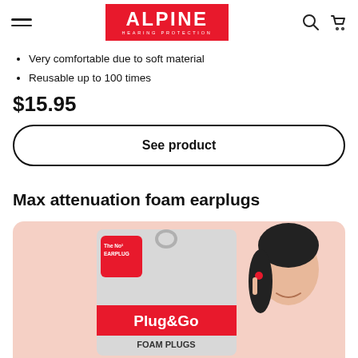Alpine Hearing Protection – navigation bar with hamburger menu, logo, search and cart icons
Very comfortable due to soft material
Reusable up to 100 times
$15.95
See product
Max attenuation foam earplugs
[Figure (photo): Product photo of Alpine Plug&Go foam earplugs packaging on a salmon/peach background. Packaging shows 'The No1 Earplug' badge, 'Plug&Go' logo in white on red background, 'FOAM PLUGS' text, and a woman smiling while holding an earplug up near her ear.]